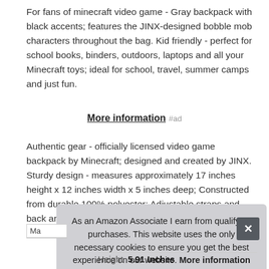For fans of minecraft video game - Gray backpack with black accents; features the JINX-designed bobble mob characters throughout the bag. Kid friendly - perfect for school books, binders, outdoors, laptops and all your Minecraft toys; ideal for school, travel, summer camps and just fun.
More information #ad
Authentic gear - officially licensed video game backpack by Minecraft; designed and created by JINX. Sturdy design - measures approximately 17 inches height x 12 inches width x 5 inches deep; Constructed from durable 100% polyester; Adjustable straps and back are padded for extra comfort.
As an Amazon Associate I earn from qualifying purchases. This website uses the only necessary cookies to ensure you get the best experience on our website. More information
|  |  |
| --- | --- |
| Ma |  |
| Height | 5.91 Inches |